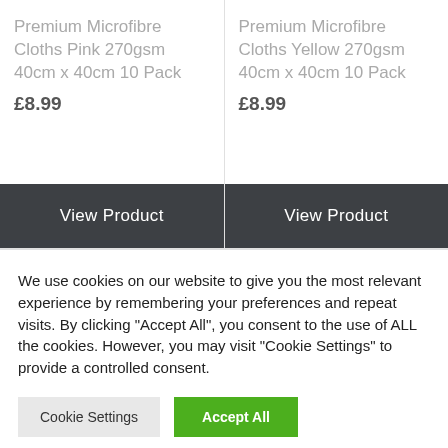Premium Microfibre Cloths Pink 270gsm 40cm x 40cm 10 Pack £8.99
Premium Microfibre Cloths Yellow 270gsm 40cm x 40cm 10 Pack £8.99
View Product
View Product
We use cookies on our website to give you the most relevant experience by remembering your preferences and repeat visits. By clicking "Accept All", you consent to the use of ALL the cookies. However, you may visit "Cookie Settings" to provide a controlled consent.
Cookie Settings
Accept All